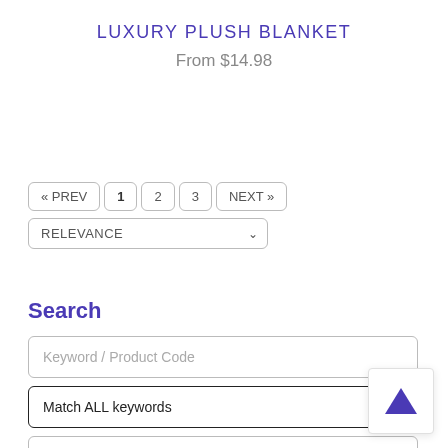LUXURY PLUSH BLANKET
From $14.98
« PREV  1  2  3  NEXT »
RELEVANCE
Search
Keyword / Product Code
Match ALL keywords
Exclude Words